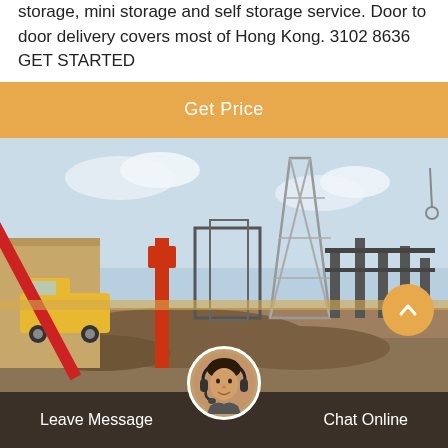storage, mini storage and self storage service. Door to door delivery covers most of Hong Kong. 3102 8636 GET STARTED
Get Price
[Figure (photo): Construction site with a red crane and electrical substation infrastructure under blue sky]
Leave Message   Chat Online